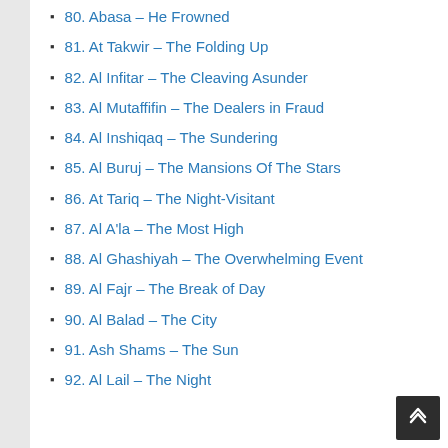80. Abasa – He Frowned
81. At Takwir – The Folding Up
82. Al Infitar – The Cleaving Asunder
83. Al Mutaffifin – The Dealers in Fraud
84. Al Inshiqaq – The Sundering
85. Al Buruj – The Mansions Of The Stars
86. At Tariq – The Night-Visitant
87. Al A'la – The Most High
88. Al Ghashiyah – The Overwhelming Event
89. Al Fajr – The Break of Day
90. Al Balad – The City
91. Ash Shams – The Sun
92. Al Lail – The Night